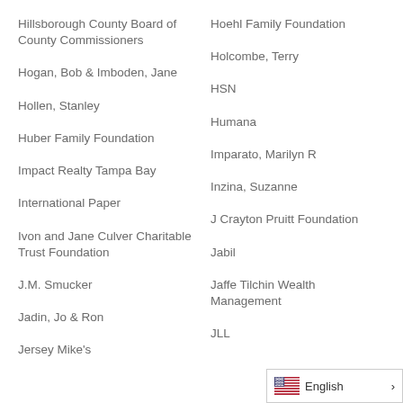Hillsborough County Board of County Commissioners
Hoehl Family Foundation
Hogan, Bob & Imboden, Jane
Holcombe, Terry
Hollen, Stanley
HSN
Huber Family Foundation
Humana
Impact Realty Tampa Bay
Imparato, Marilyn R
International Paper
Inzina, Suzanne
Ivon and Jane Culver Charitable Trust Foundation
J Crayton Pruitt Foundation
J.M. Smucker
Jabil
Jadin, Jo & Ron
Jaffe Tilchin Wealth Management
Jersey Mike's
JLL